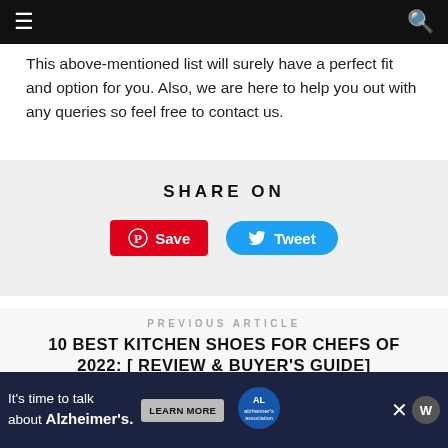Navigation bar with hamburger menu and search icon
This above-mentioned list will surely have a perfect fit and option for you. Also, we are here to help you out with any queries so feel free to contact us.
SHARE ON
[Figure (infographic): Share buttons: Pinterest Save button (red) and Twitter Tweet button (blue)]
PREVIOUS ARTICLE
10 BEST KITCHEN SHOES FOR CHEFS OF 2022: [ REVIEW & BUYER'S GUIDE]
NEXT ARTICLE
THE BEST NIKE RUNNING SHOES FOR EVERY TYPE
[Figure (infographic): Advertisement banner: It's time to talk about Alzheimer's. LEARN MORE button with Alzheimer's Association logo and close buttons.]